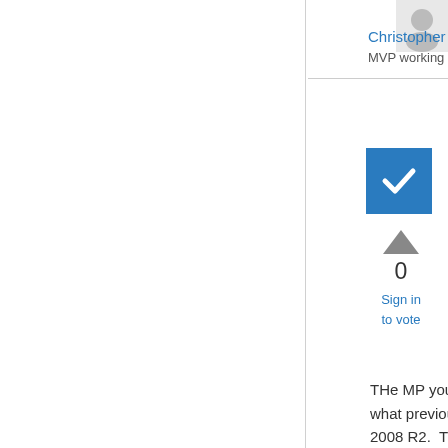[Figure (photo): Small profile photo of Christopher Keyaert in top right corner]
Christopher Keyaert
MVP working at Inovativ
[Figure (other): Blue checkbox with white checkmark]
[Figure (other): Upward triangle arrow icon (vote up)]
0
Sign in
to vote
THe MP you need is called remote desktop services.  This was the name of what previously was called Terminal Services.  This MP is specific to Server 2008 R2.  The older Terminal Services management pack is the wrong one in this case.
You can access the RDS